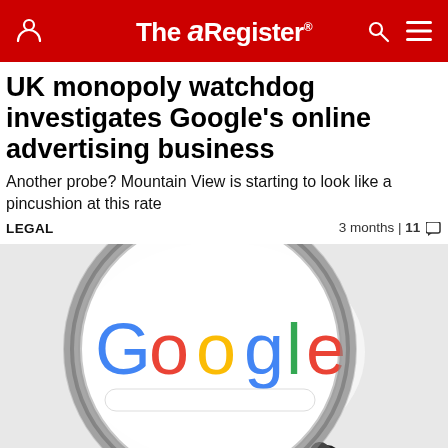The Register
UK monopoly watchdog investigates Google's online advertising business
Another probe? Mountain View is starting to look like a pincushion at this rate
LEGAL   3 months | 11
[Figure (photo): A magnifying glass held over a white background showing the Google logo and search bar, with the handle extending to the lower right.]